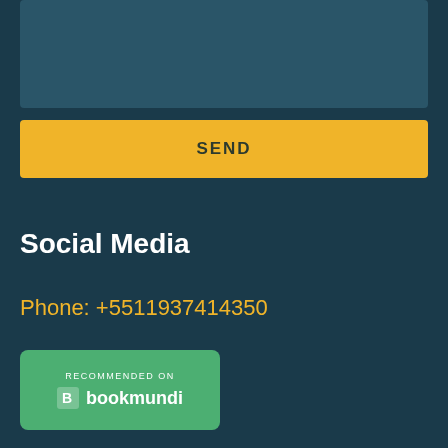[Figure (screenshot): Dark teal input/textarea box at top of page]
SEND
Social Media
Phone: +5511937414350
[Figure (logo): Recommended on bookmundi badge with green background, bookmundi icon and text]